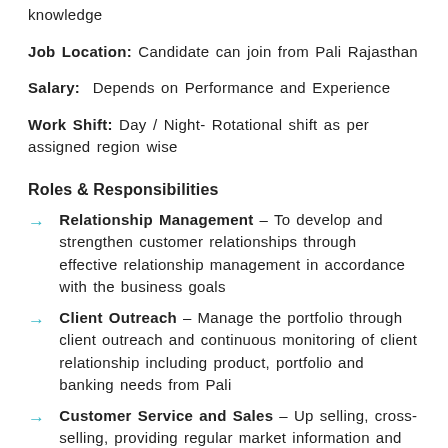knowledge
Job Location: Candidate can join from Pali Rajasthan
Salary:  Depends on Performance and Experience
Work Shift: Day / Night- Rotational shift as per assigned region wise
Roles & Responsibilities
Relationship Management – To develop and strengthen customer relationships through effective relationship management in accordance with the business goals
Client Outreach – Manage the portfolio through client outreach and continuous monitoring of client relationship including product, portfolio and banking needs from Pali
Customer Service and Sales – Up selling, cross-selling, providing regular market information and